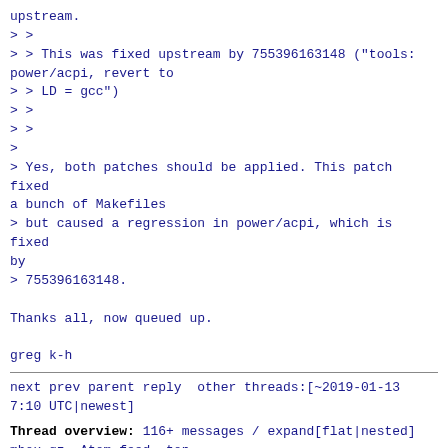upstream.
> >
> > This was fixed upstream by 755396163148 ("tools: power/acpi, revert to
> > LD = gcc")
> >
> >
>
> Yes, both patches should be applied. This patch fixed a bunch of Makefiles
> but caused a regression in power/acpi, which is fixed by
> 755396163148.

Thanks all, now queued up.

greg k-h
next prev parent reply  other threads:[~2019-01-13 7:10 UTC|newest]
Thread overview: 116+ messages / expand[flat|nested]
mbox.gz  Atom feed  top
2019-01-11 14:13 [PATCH 4.14 000/105] 4.14.93-stable review Greg Kroah-Hartman
2019-01-11 14:13 ` [PATCH 4.14 001/105] pinctrl: meson: fix pull enable register calculation Greg Kroah-Hartman
2019-01-11 14:13 ` [PATCH 4.14 002/105] powerpc: Fix COFF zImage booting on old powermacs Greg Kroah-Hartman